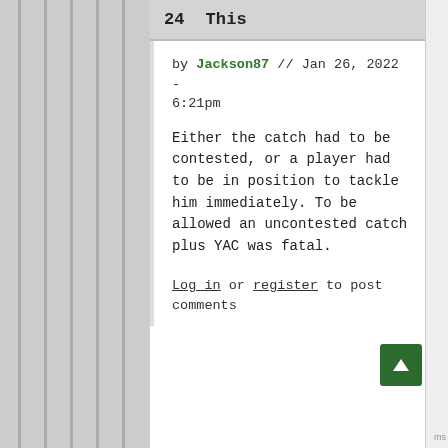24  This
by Jackson87 // Jan 26, 2022 - 6:21pm
Either the catch had to be contested, or a player had to be in position to tackle him immediately. To be allowed an uncontested catch plus YAC was fatal.
Log in or register to post comments